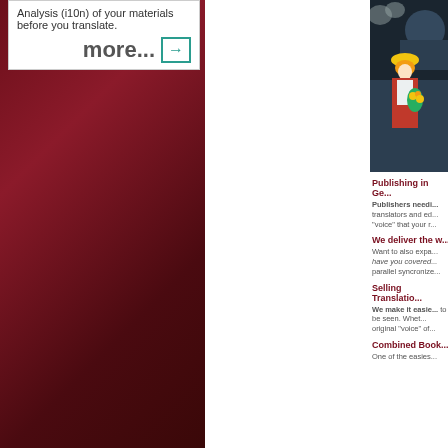Analysis (i10n) of your materials before you translate.
more...
[Figure (illustration): Vintage illustration of a woman in a red coat holding flowers, with a dark locomotive in background]
Publishing in Ge...
Publishers needing translators and editors... "voice" that your re...
We deliver the w...
Want to also expa... have you covered... parallel syncronize...
Selling Translatio...
We make it easie... to be seen. Whet... original "voice" of...
Combined Book...
One of the easies...